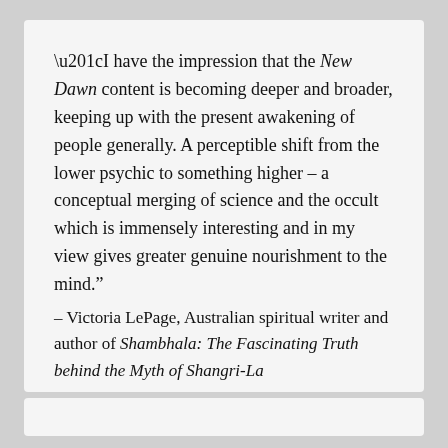“I have the impression that the New Dawn content is becoming deeper and broader, keeping up with the present awakening of people generally. A perceptible shift from the lower psychic to something higher – a conceptual merging of science and the occult which is immensely interesting and in my view gives greater genuine nourishment to the mind.”
– Victoria LePage, Australian spiritual writer and author of Shambhala: The Fascinating Truth behind the Myth of Shangri-La